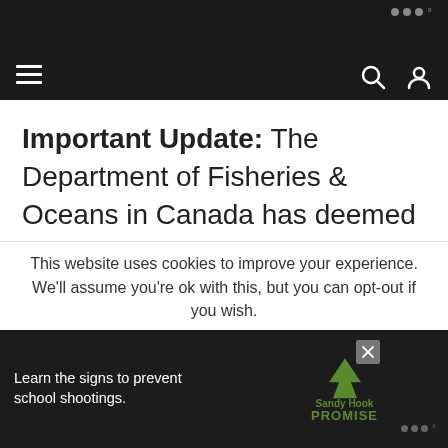Navigation bar with hamburger menu, search and user icons
Important Update: The Department of Fisheries & Oceans in Canada has deemed that snorkeling/swimming with beluga whales is detrimental to them and has implemented a new policy stating that operators cannot get within 50 meters of a whale. This change will be in effect for the 2019 season and beyond. Therefore swimming with belugas is no longer possible
This website uses cookies to improve your experience. We'll assume you're ok with this, but you can opt-out if you wish.
Learn the signs to prevent school shootings. Sandy Hook Promise